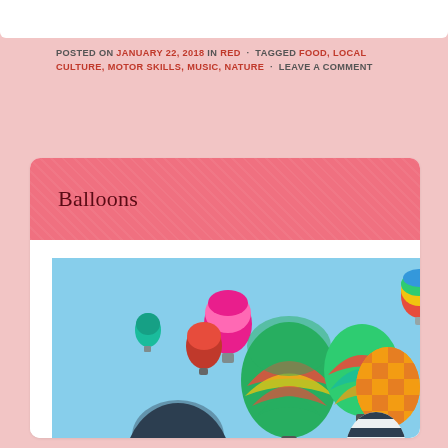POSTED ON JANUARY 22, 2018 IN RED · TAGGED FOOD, LOCAL CULTURE, MOTOR SKILLS, MUSIC, NATURE · LEAVE A COMMENT
Balloons
[Figure (photo): A photograph of numerous colorful hot air balloons floating in a clear blue sky. The balloons display a variety of vibrant patterns including multicolored stripes, checkered designs, and solid colors in red, yellow, green, blue, pink, and orange.]